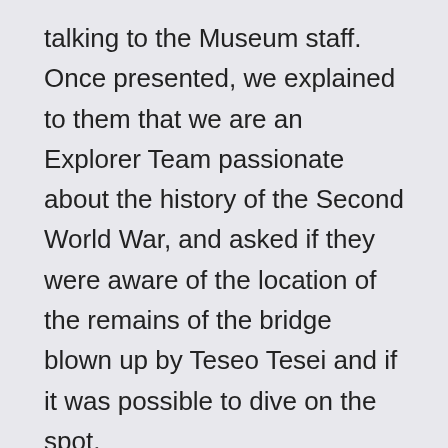talking to the Museum staff. Once presented, we explained to them that we are an Explorer Team passionate about the history of the Second World War, and asked if they were aware of the location of the remains of the bridge blown up by Teseo Tesei and if it was possible to dive on the spot. Oddly, the museum staff denied that this event had ever happened. With astonishment, we asked to be able to speak with a historian anticipating that we were in possession of documentation that